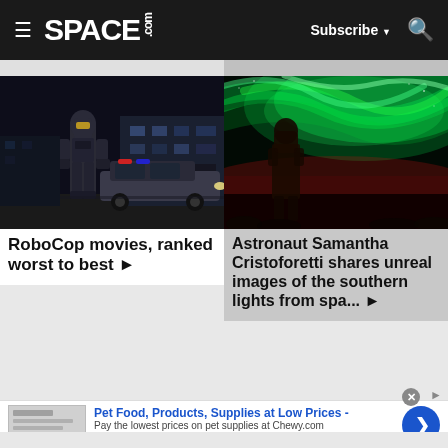SPACE.com | Subscribe | Search
[Figure (screenshot): RoboCop standing in front of a police car at night outside a building]
RoboCop movies, ranked worst to best ▶
[Figure (photo): Green glowing aurora australis (southern lights) seen from space with a figure in the foreground]
Astronaut Samantha Cristoforetti shares unreal images of the southern lights from spa... ▶
Pet Food, Products, Supplies at Low Prices -
Pay the lowest prices on pet supplies at Chewy.com
chewy.com